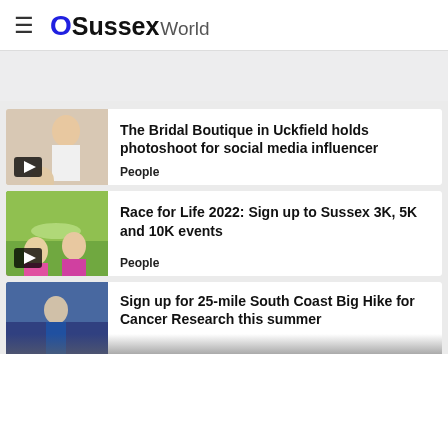OSSussexWorld
[Figure (photo): Thumbnail photo of woman in white dress for Bridal Boutique article, with video play button overlay]
The Bridal Boutique in Uckfield holds photoshoot for social media influencer
People
[Figure (photo): Thumbnail photo of women in pink Race for Life attire running with arms raised, with video play button overlay]
Race for Life 2022: Sign up to Sussex 3K, 5K and 10K events
People
[Figure (photo): Partial thumbnail photo of person in blue running gear for South Coast Big Hike article]
Sign up for 25-mile South Coast Big Hike for Cancer Research this summer